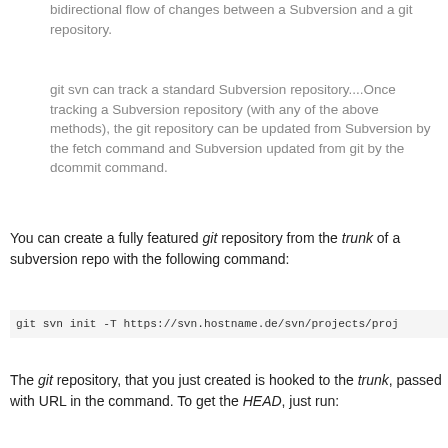bidirectional flow of changes between a Subversion and a git repository.
git svn can track a standard Subversion repository....Once tracking a Subversion repository (with any of the above methods), the git repository can be updated from Subversion by the fetch command and Subversion updated from git by the dcommit command.
You can create a fully featured git repository from the trunk of a subversion repo with the following command:
git svn init -T https://svn.hostname.de/svn/projects/proj
The git repository, that you just created is hooked to the trunk, passed with URL in the command. To get the HEAD, just run: